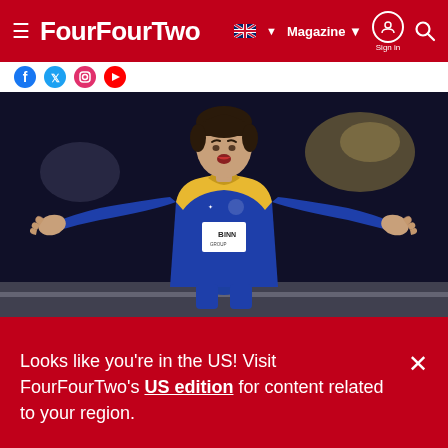FourFourTwo — Magazine | Sign in | Search
[Figure (photo): Football player in blue St Johnstone kit with BINN GROUP sponsor, arms spread wide in a gesture of frustration or appeal, photographed at night under stadium lights]
Looks like you're in the US! Visit FourFourTwo's US edition for content related to your region.